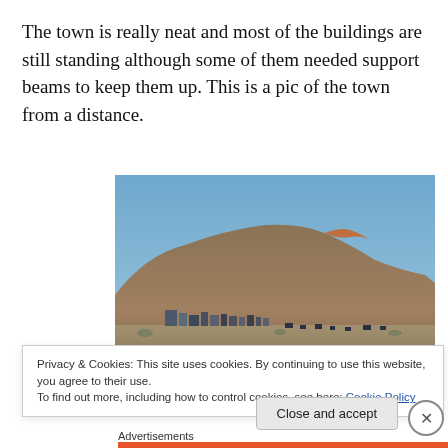The town is really neat and most of the buildings are still standing although some of them needed support beams to keep them up.  This is a pic of the town from a distance.
[Figure (photo): A photograph of a small desert town (ghost town) seen from a distance, nestled at the base of a large barren rocky hill under a clear blue sky. Small dark structures visible in the lower portion.]
Privacy & Cookies: This site uses cookies. By continuing to use this website, you agree to their use.
To find out more, including how to control cookies, see here: Cookie Policy
Close and accept
Advertisements